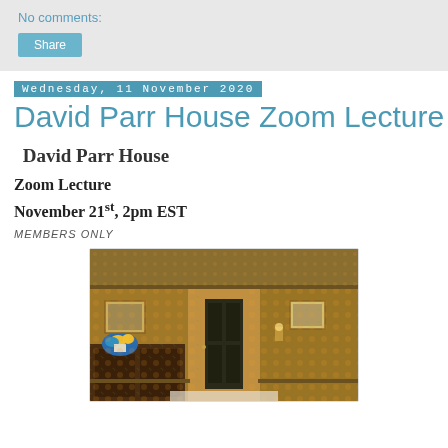No comments:
Share
Wednesday, 11 November 2020
David Parr House Zoom Lecture
David Parr House
Zoom Lecture
November 21st, 2pm EST
MEMBERS ONLY
[Figure (photo): Interior room of David Parr House showing ornate William Morris-style wallpaper covering walls and ceiling, with a dark wooden sideboard on the left, a dark door in the center, framed pictures on the wall, and flowers in a vase.]